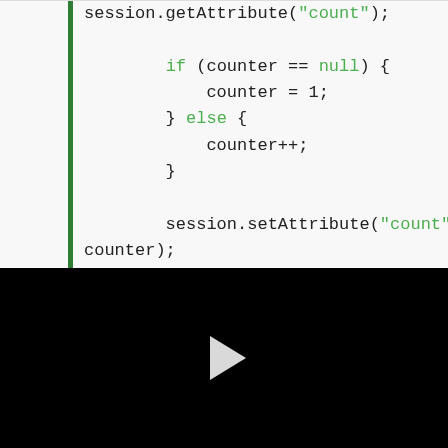session.getAttribute("count");

            if (counter == null) {
                counter = 1;
            } else {
                counter++;
            }

            session.setAttribute("count",
counter);

            return ResponseEntity.ok(counter);
    }
}
[Figure (other): Black video panel with a white play button triangle in the center]